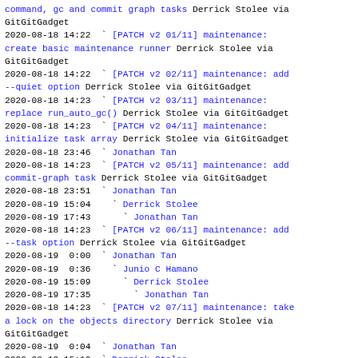command, gc and commit graph tasks Derrick Stolee via GitGitGadget
2020-08-18 14:22  ` [PATCH v2 01/11] maintenance: create basic maintenance runner Derrick Stolee via GitGitGadget
2020-08-18 14:22  ` [PATCH v2 02/11] maintenance: add --quiet option Derrick Stolee via GitGitGadget
2020-08-18 14:23  ` [PATCH v2 03/11] maintenance: replace run_auto_gc() Derrick Stolee via GitGitGadget
2020-08-18 14:23  ` [PATCH v2 04/11] maintenance: initialize task array Derrick Stolee via GitGitGadget
2020-08-18 23:46  ` Jonathan Tan
2020-08-18 14:23  ` [PATCH v2 05/11] maintenance: add commit-graph task Derrick Stolee via GitGitGadget
2020-08-18 23:51  ` Jonathan Tan
2020-08-19 15:04    ` Derrick Stolee
2020-08-19 17:43      ` Jonathan Tan
2020-08-18 14:23  ` [PATCH v2 06/11] maintenance: add --task option Derrick Stolee via GitGitGadget
2020-08-19  0:00  ` Jonathan Tan
2020-08-19  0:36    ` Junio C Hamano
2020-08-19 15:09      ` Derrick Stolee
2020-08-19 17:35        ` Jonathan Tan
2020-08-18 14:23  ` [PATCH v2 07/11] maintenance: take a lock on the objects directory Derrick Stolee via GitGitGadget
2020-08-19  0:04  ` Jonathan Tan
2020-08-19 15:10  ` Derrick Stolee
2020-08-18 14:23  ` [PATCH v2 08/11] maintenance: create maintenance.<task>.enabled config Derrick Stolee via GitGitGadget